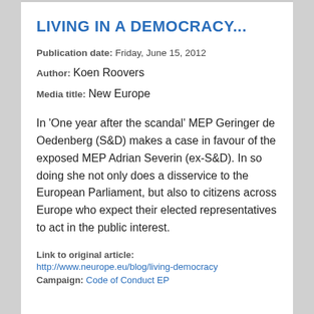LIVING IN A DEMOCRACY...
Publication date: Friday, June 15, 2012
Author: Koen Roovers
Media title: New Europe
In 'One year after the scandal' MEP Geringer de Oedenberg (S&D) makes a case in favour of the exposed MEP Adrian Severin (ex-S&D). In so doing she not only does a disservice to the European Parliament, but also to citizens across Europe who expect their elected representatives to act in the public interest.
Link to original article:
http://www.neurope.eu/blog/living-democracy
Campaign: Code of Conduct EP